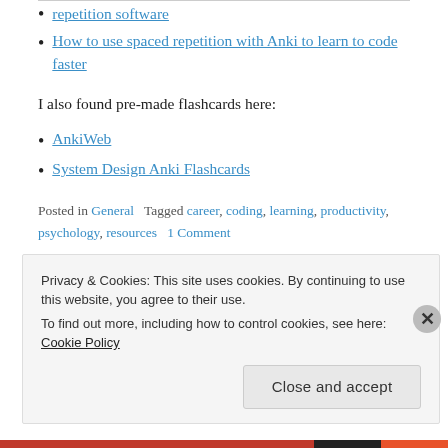repetition software
How to use spaced repetition with Anki to learn to code faster
I also found pre-made flashcards here:
AnkiWeb
System Design Anki Flashcards
Posted in General   Tagged career, coding, learning, productivity, psychology, resources   1 Comment
Privacy & Cookies: This site uses cookies. By continuing to use this website, you agree to their use.
To find out more, including how to control cookies, see here: Cookie Policy
Close and accept